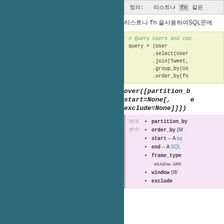정의: 리스트나 fn 같은 제목
리스트나 fn 을 사용하여SQL문에
[Figure (screenshot): Code block showing Python query: # Query users and cou... query = (User .select(User... .join(Tweet, .group_by(Us... .order_by(fn...]
over([partition_b... start=None[, e... exclude=None]]])
매개변수: partition_by, order_by (M... start -- A sq... end -- A SQL... frame_type - Window.GRO... window (W... exclude
partition_by
order_by (M...
start -- A sq...
end -- A SQL...
frame_type - Window.GRO...
window (W...
exclude